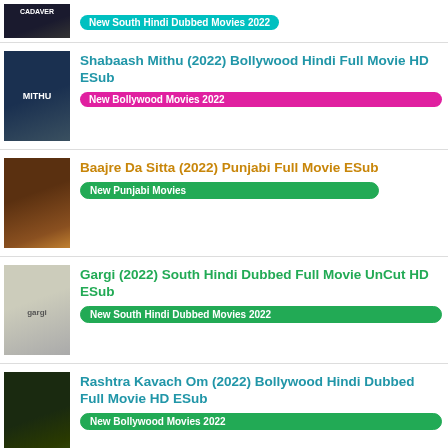New South Hindi Dubbed Movies 2022 (badge) - partial row with thumbnail
Shabaash Mithu (2022) Bollywood Hindi Full Movie HD ESub | New Bollywood Movies 2022
Baajre Da Sitta (2022) Punjabi Full Movie ESub | New Punjabi Movies
Gargi (2022) South Hindi Dubbed Full Movie UnCut HD ESub | New South Hindi Dubbed Movies 2022
Rashtra Kavach Om (2022) Bollywood Hindi Dubbed Full Movie HD ESub | New Bollywood Movies 2022
Laal Singh Chaddha V2 (2022) Bollywood Hindi ...
Download Now